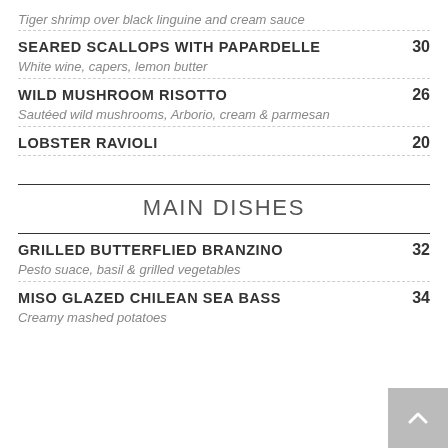Tiger shrimp over black linguine and cream sauce
SEARED SCALLOPS WITH PAPARDELLE — 30
White wine, capers, lemon butter
WILD MUSHROOM RISOTTO — 26
Sautéed wild mushrooms, Arborio, cream & parmesan
LOBSTER RAVIOLI — 20
MAIN DISHES
GRILLED BUTTERFLIED BRANZINO — 32
Pesto suace, basil & grilled vegetables
MISO GLAZED CHILEAN SEA BASS — 34
Creamy mashed potatoes